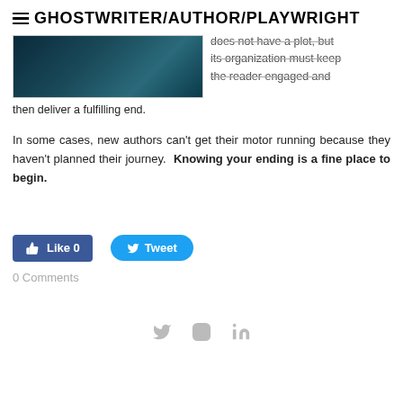GHOSTWRITER/AUTHOR/PLAYWRIGHT
[Figure (photo): Dark teal/blue landscape or sky photo]
does not have a plot, but its organization must keep the reader engaged and then deliver a fulfilling end.
In some cases, new authors can't get their motor running because they haven't planned their journey.  Knowing your ending is a fine place to begin.
0 Comments